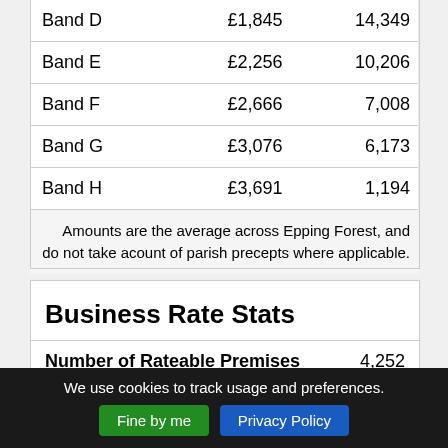| Band | Amount | Count |
| --- | --- | --- |
| Band D | £1,845 | 14,349 |
| Band E | £2,256 | 10,206 |
| Band F | £2,666 | 7,008 |
| Band G | £3,076 | 6,173 |
| Band H | £3,691 | 1,194 |
Amounts are the average across Epping Forest, and do not take acount of parish precepts where applicable.
Business Rate Stats
| Description | Value |
| --- | --- |
| Number of Rateable Premises | 4,252 |
We use cookies to track usage and preferences. Fine by me  Privacy Policy